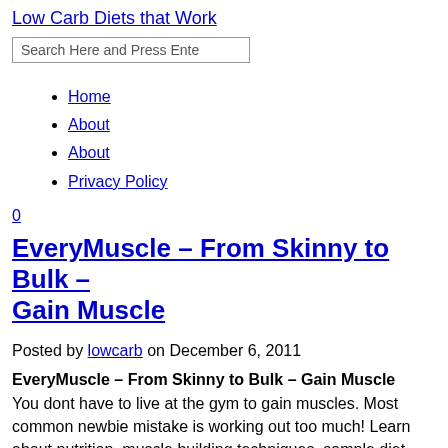Low Carb Diets that Work
Search Here and Press Enter
Home
About
About
Privacy Policy
0
EveryMuscle – From Skinny to Bulk – Gain Muscle
Posted by lowcarb on December 6, 2011
EveryMuscle – From Skinny to Bulk – Gain Muscle
You dont have to live at the gym to gain muscles. Most common newbie mistake is working out too much! Learn about nutrition, muscle building techniques, sample diet plans, work out schedules, and more. Recurring Billing!
EveryMuscle – From Skinny to Bulk – Gain Muscle
Muscle Gaining Secrets